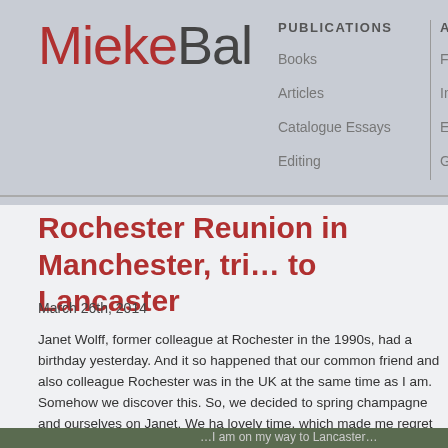MiekeBal
PUBLICATIONS
Books
Articles
Catalogue Essays
Editing
ARTWO...
Films
Installatio...
Exhibitio...
Group Ex...
Rochester Reunion in Manchester, tri... to Lancaster
March 26th, 2014
Janet Wolff, former colleague at Rochester in the 1990s, had a birthday yesterday. And it so happened that our common friend and also colleague Rochester was in the UK at the same time as I am. Somehow we discover this. So, we decided to spring champagne and ourselves on Janet. We ha lovely time, which made me regret we don't see each other often enough. photo is pretty awful - my first and probably last selfie ever - but you get the of the girls' reunion. Left is Janet, middle is Michael.